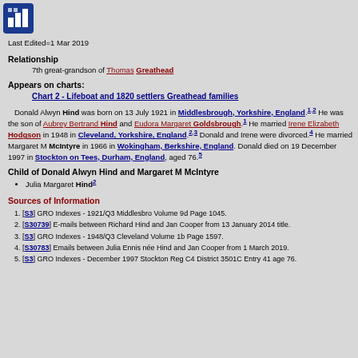[Figure (logo): Blue square icon with grid/chart symbol]
Last Edited=1 Mar 2019
Relationship
7th great-grandson of Thomas Greathead
Appears on charts:
Chart 2 - Lifeboat and 1820 settlers Greathead families
Donald Alwyn Hind was born on 13 July 1921 in Middlesbrough, Yorkshire, England.1,2 He was the son of Aubrey Bertrand Hind and Eudora Margaret Goldsbrough.1 He married Irene Elizabeth Hodgson in 1948 in Cleveland, Yorkshire, England.2,3 Donald and Irene were divorced.4 He married Margaret M McIntyre in 1966 in Wokingham, Berkshire, England. Donald died on 19 December 1997 in Stockton on Tees, Durham, England, aged 76.5
Child of Donald Alwyn Hind and Margaret M McIntyre
Julia Margaret Hind2
Sources of Information
[S3] GRO Indexes - 1921/Q3 Middlesbro Volume 9d Page 1045.
[S30739] E-mails between Richard Hind and Jan Cooper from 13 January 2014 title.
[S3] GRO Indexes - 1948/Q3 Cleveland Volume 1b Page 1597.
[S30783] Emails between Julia Ennis née Hind and Jan Cooper from 1 March 2019.
[S3] GRO Indexes - December 1997 Stockton Reg C4 District 3501C Entry 41 age 76.